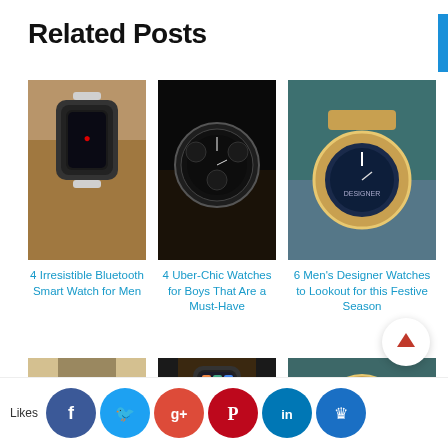Related Posts
[Figure (photo): Apple Watch on a wrist with a digital display]
[Figure (photo): Dark luxury chronograph watch on black background]
[Figure (photo): Gold and blue men's designer watch on wrist]
4 Irresistible Bluetooth Smart Watch for Men
4 Uber-Chic Watches for Boys That Are a Must-Have
6 Men's Designer Watches to Lookout for this Festive Season
[Figure (photo): Man wearing watch, casual shirt outfit]
[Figure (photo): Apple Watch with colorful app screen on wrist]
[Figure (photo): Gold and blue designer watch on wrist, close-up]